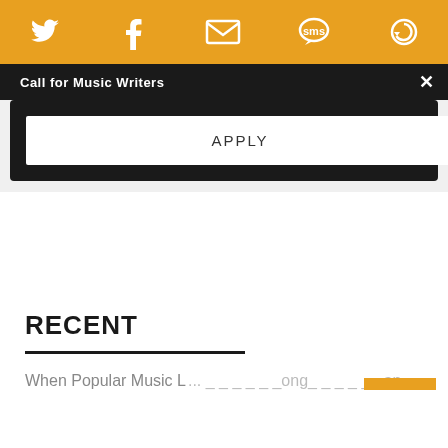Social share icons: Twitter, Facebook, Email, SMS, other
Call for Music Writers
APPLY
RECENT
When Popular Music L... ...ong... ...an...